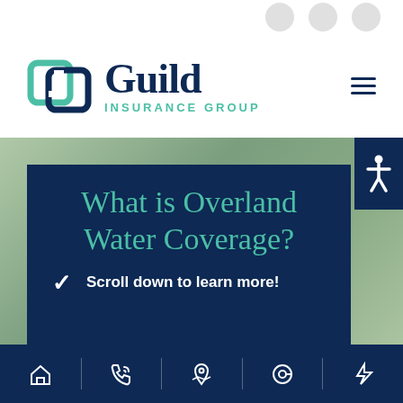[Figure (logo): Guild Insurance Group logo with teal square bracket icon and dark navy serif text]
What is Overland Water Coverage?
Scroll down to learn more!
[Figure (screenshot): Bottom navigation bar with home, phone, map, email, and lightning bolt icons on dark navy background]